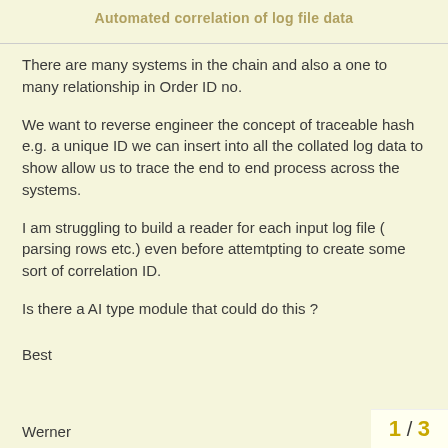Automated correlation of log file data
There are many systems in the chain and also a one to many relationship in Order ID no.
We want to reverse engineer the concept of traceable hash e.g. a unique ID we can insert into all the collated log data to show allow us to trace the end to end process across the systems.
I am struggling to build a reader for each input log file ( parsing rows etc.) even before attemtpting to create some sort of correlation ID.
Is there a AI type module that could do this ?
Best
Werner
1 / 3